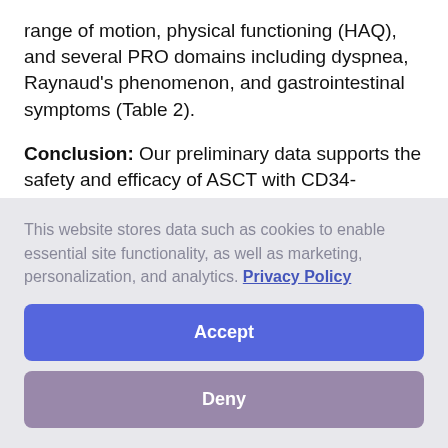range of motion, physical functioning (HAQ), and several PRO domains including dyspnea, Raynaud's phenomenon, and gastrointestinal symptoms (Table 2).
Conclusion: Our preliminary data supports the safety and efficacy of ASCT with CD34-Selected Peripheral Blood Stem Cells in jSSc. Two subjects had 7+ years of duration: one with more limited skin disease, and the other with overlap disease with myositis, both with positive outcomes. Expansion of ASCT eligibility to include children, adolescents and young adults and
This website stores data such as cookies to enable essential site functionality, as well as marketing, personalization, and analytics. Privacy Policy
Accept
Deny